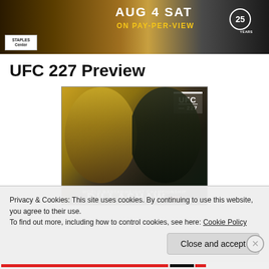[Figure (photo): UFC 227 promotional banner with fighters, 'AUG 4 SAT ON PAY-PER-VIEW' text, Staples Center logo, and UFC 25 Years logo]
UFC 227 Preview
[Figure (photo): UFC 227 fight poster showing two fighters TJ Dillashaw face-to-face with UFC 227 logo and 'World Bantamweight Championship DILLASHAW' text]
Privacy & Cookies: This site uses cookies. By continuing to use this website, you agree to their use.
To find out more, including how to control cookies, see here: Cookie Policy
Close and accept